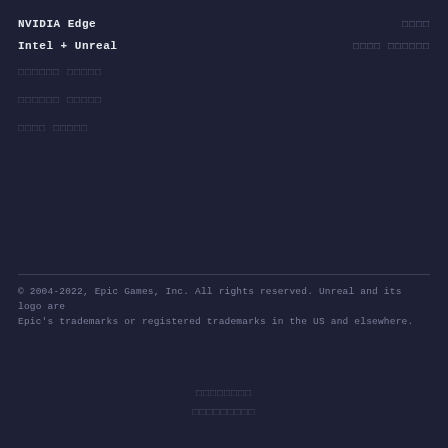NVIDIA Edge  □□□□
Intel + Unreal  □□□□ □□□□□□
□□□□□□ □□□□□
□□□□□□ □□□□□
□□□□ □□□□□
© 2004-2022, Epic Games, Inc. All rights reserved. Unreal and its logo are Epic's trademarks or registered trademarks in the US and elsewhere.
□□□□□□□□
□□□□□□□□□